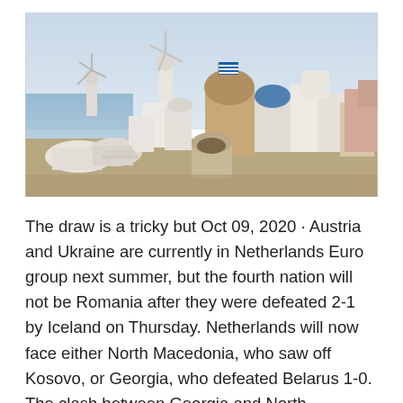[Figure (photo): Photograph of a Greek island village (Santorini) showing white-washed buildings, domed roofs, a windmill, and a blue-domed church with a Greek flag, set against a pale blue sky.]
The draw is a tricky but Oct 09, 2020 · Austria and Ukraine are currently in Netherlands Euro group next summer, but the fourth nation will not be Romania after they were defeated 2-1 by Iceland on Thursday. Netherlands will now face either North Macedonia, who saw off Kosovo, or Georgia, who defeated Belarus 1-0. The clash between Georgia and North Macedonia takes place on the 12th Nov 16, 2019 · BERLIN (AP) —